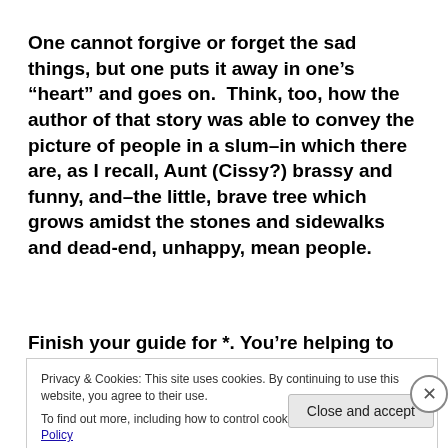One cannot forgive or forget the sad things, but one puts it away in one's “heart” and goes on.  Think, too, how the author of that story was able to convey the picture of people in a slum–in which there are, as I recall, Aunt (Cissy?) brassy and funny, and–the little, brave tree which grows amidst the stones and sidewalks and dead-end, unhappy, mean people.
Finish your guide for *. You’re helping to make kids
Privacy & Cookies: This site uses cookies. By continuing to use this website, you agree to their use.
To find out more, including how to control cookies, see here: Cookie Policy